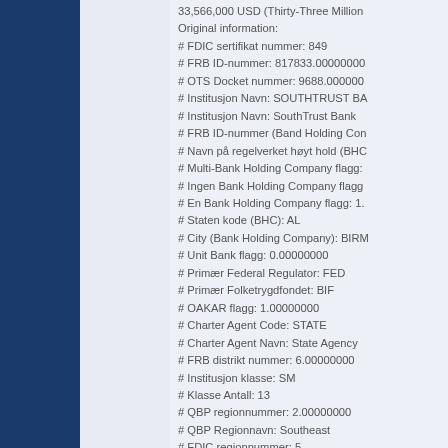33,566,000 USD (Thirty-Three Million
Original information:
# FDIC sertifikat nummer: 849
# FRB ID-nummer: 817833.00000000
# OTS Docket nummer: 9688.000000
# Institusjon Navn: SOUTHTRUST BA
# Institusjon Navn: SouthTrust Bank
# FRB ID-nummer (Band Holding Con
# Navn på regelverket høyt hold (BHC
# Multi-Bank Holding Company flagg:
# Ingen Bank Holding Company flagg
# En Bank Holding Company flagg: 1.
# Staten kode (BHC): AL
# City (Bank Holding Company): BIRM
# Unit Bank flagg: 0.00000000
# Primær Federal Regulator: FED
# Primær Folketrygdfondet: BIF
# OAKAR flagg: 1.00000000
# Charter Agent Code: STATE
# Charter Agent Navn: State Agency
# FRB distrikt nummer: 6.00000000
# Institusjon klasse: SM
# Klasse Antall: 13
# QBP regionnummer: 2.00000000
# QBP Regionnavn: Southeast
# FDIC regionnummer: 5
# FDIC Regionnavn: Atlanta
# Federal Reserve District Navn: Atla
# OCC distrikt nummer: 5
# OCC Regionnavn: Southwest Distr